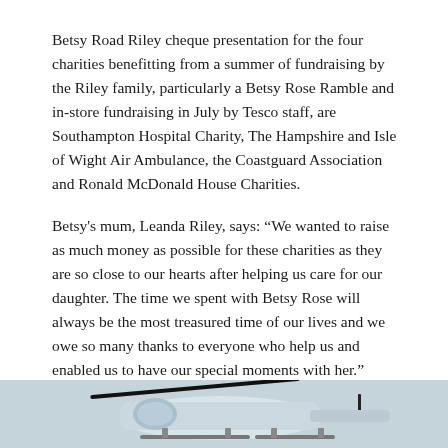Betsy Road Riley cheque presentation for the four charities benefitting from a summer of fundraising by the Riley family, particularly a Betsy Rose Ramble and in-store fundraising in July by Tesco staff, are Southampton Hospital Charity, The Hampshire and Isle of Wight Air Ambulance, the Coastguard Association and Ronald McDonald House Charities.
Betsy's mum, Leanda Riley, says: “We wanted to raise as much money as possible for these charities as they are so close to our hearts after helping us care for our daughter. The time we spent with Betsy Rose will always be the most treasured time of our lives and we owe so many thanks to everyone who help us and enabled us to have our special moments with her.”
[Figure (photo): Bottom portion of a photograph showing a helicopter, partially visible at the bottom of the page.]